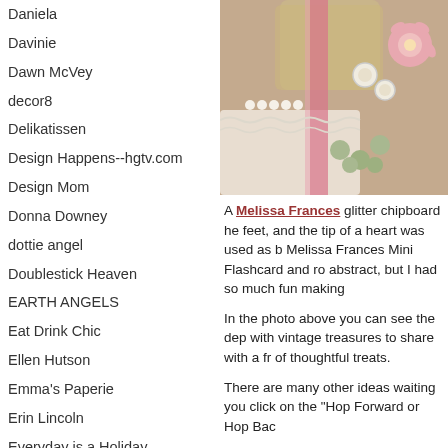Daniela
Davinie
Dawn McVey
decor8
Delikatissen
Design Happens--hgtv.com
Design Mom
Donna Downey
dottie angel
Doublestick Heaven
EARTH ANGELS
Eat Drink Chic
Ellen Hutson
Emma's Paperie
Erin Lincoln
Everyday is a Holiday
Fancy Flours - Cookie Cutters, Dragees, Cake Pans, Cookie and Cake Decorations, and Vintage Wedding
[Figure (photo): Close-up photo of a vintage-style crafted item with burlap, pink ribbon, lace, buttons and pink flowers]
A Melissa Frances glitter chipboard he feet, and the tip of a heart was used as b Melissa Frances Mini Flashcard and ro abstract, but I had so much fun making
In the photo above you can see the dep with vintage treasures to share with a fr of thoughtful treats.
There are many other ideas waiting you click on the "Hop Forward or Hop Bac
Thanks so much for visiting and thank Melis